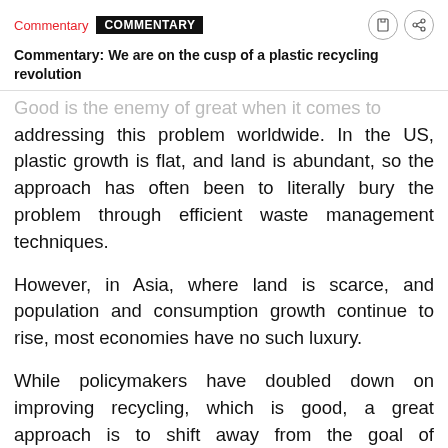Commentary | COMMENTARY
Commentary: We are on the cusp of a plastic recycling revolution
Good is the enemy of great when it comes to addressing this problem worldwide. In the US, plastic growth is flat, and land is abundant, so the approach has often been to literally bury the problem through efficient waste management techniques.
However, in Asia, where land is scarce, and population and consumption growth continue to rise, most economies have no such luxury.
While policymakers have doubled down on improving recycling, which is good, a great approach is to shift away from the goal of increasing plastic recycling rates in favour of reducing plastic waste across the entire supply chain system.